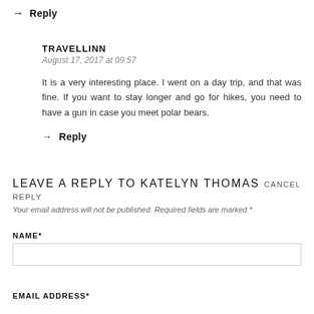→ Reply
TRAVELLINN
August 17, 2017 at 09:57
It is a very interesting place. I went on a day trip, and that was fine. If you want to stay longer and go for hikes, you need to have a gun in case you meet polar bears.
→ Reply
LEAVE A REPLY TO KATELYN THOMAS CANCEL REPLY
Your email address will not be published. Required fields are marked *
NAME*
EMAIL ADDRESS*